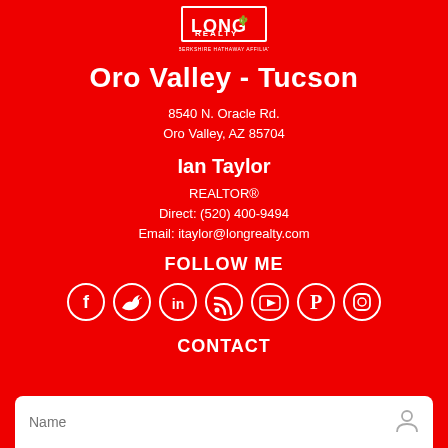[Figure (logo): Long Realty - A Berkshire Hathaway Affiliate logo, white on red]
Oro Valley - Tucson
8540 N. Oracle Rd.
Oro Valley, AZ 85704
Ian Taylor
REALTOR®
Direct: (520) 400-9494
Email: itaylor@longrealty.com
FOLLOW ME
[Figure (illustration): Social media icons: Facebook, Twitter, LinkedIn, RSS, YouTube, Pinterest, Instagram — white circle outlines on red background]
CONTACT
Name